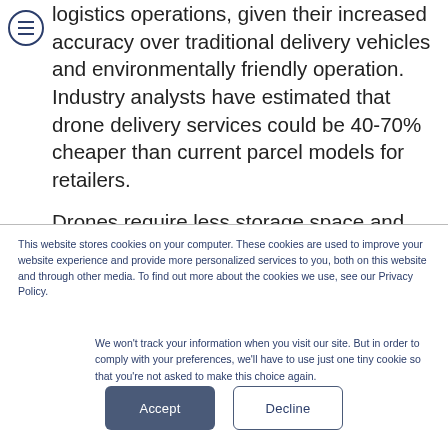logistics operations, given their increased accuracy over traditional delivery vehicles and environmentally friendly operation. Industry analysts have estimated that drone delivery services could be 40-70% cheaper than current parcel models for retailers.
Drones require less storage space and travel faster than existing trucks and vans. Furthermore, the COVID-19
This website stores cookies on your computer. These cookies are used to improve your website experience and provide more personalized services to you, both on this website and through other media. To find out more about the cookies we use, see our Privacy Policy.
We won't track your information when you visit our site. But in order to comply with your preferences, we'll have to use just one tiny cookie so that you're not asked to make this choice again.